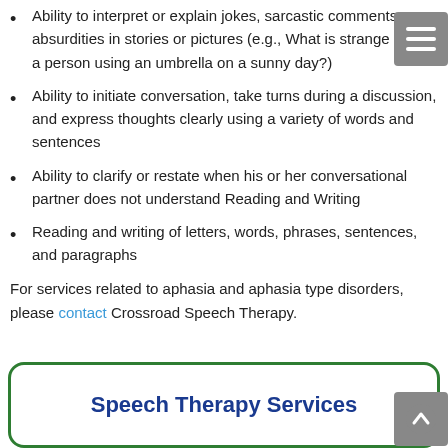Ability to interpret or explain jokes, sarcastic comments, absurdities in stories or pictures (e.g., What is strange about a person using an umbrella on a sunny day?)
Ability to initiate conversation, take turns during a discussion, and express thoughts clearly using a variety of words and sentences
Ability to clarify or restate when his or her conversational partner does not understand Reading and Writing
Reading and writing of letters, words, phrases, sentences, and paragraphs
For services related to aphasia and aphasia type disorders, please contact Crossroad Speech Therapy.
Speech Therapy Services